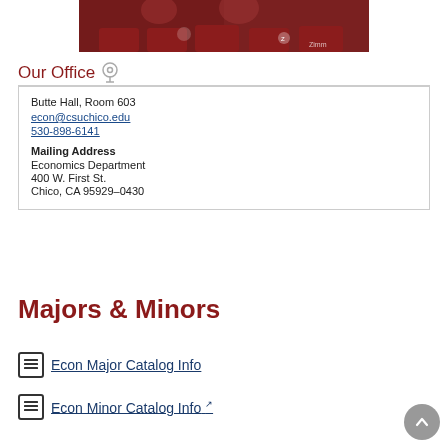[Figure (photo): Partial photo of people sitting in red chairs, with a Zimmer logo visible]
Our Office
Butte Hall, Room 603
econ@csuchico.edu
530-898-6141

Mailing Address
Economics Department
400 W. First St.
Chico, CA 95929–0430
Majors & Minors
Econ Major Catalog Info
Econ Minor Catalog Info